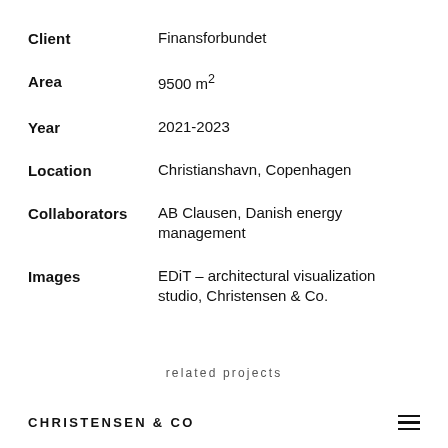Client: Finansforbundet
Area: 9500 m²
Year: 2021-2023
Location: Christianshavn, Copenhagen
Collaborators: AB Clausen, Danish energy management
Images: EDiT - architectural visualization studio, Christensen & Co.
related projects
CHRISTENSEN & CO